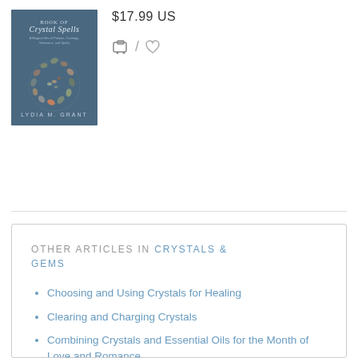[Figure (photo): Book cover of 'Book of Crystal Spells' by Lydia M. Grant, showing a spiral of stones/crystals on a dark blue background]
$17.99 US
[Figure (infographic): Shopping cart icon and heart/wishlist icon separated by a slash]
OTHER ARTICLES IN CRYSTALS & GEMS
Choosing and Using Crystals for Healing
Clearing and Charging Crystals
Combining Crystals and Essential Oils for the Month of Love and Romance
3 Keys to Magically Working With